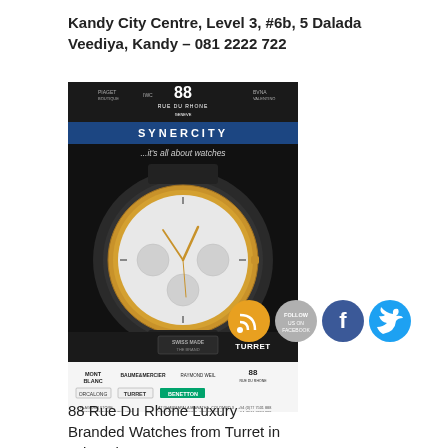Kandy City Centre, Level 3, #6b, 5 Dalada Veediya, Kandy – 081 2222 722
[Figure (photo): Advertisement for 88 Rue Du Rhone watch brand showing a luxury chronograph watch with gold case and white diamond dial on a black leather strap, against a dark background. The ad shows the Synercity branding and Turret retailer logos, with brand logos for Mont Blanc, Baume Mercier, Raymond Weil, and 88 Rue Du Rhone, plus social media icons (RSS, Follow, Facebook, Twitter).]
88 Rue Du Rhone Luxury Branded Watches from Turret in Sri Lanka